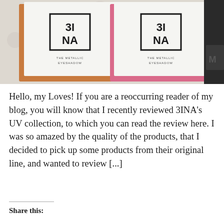[Figure (photo): Photo showing two 3INA brand metallic eyeshadow compacts (one with orange/rust backing, one with pink backing) laid on a white floral textured surface, with a black product partially visible on the right edge.]
Hello, my Loves! If you are a reoccurring reader of my blog, you will know that I recently reviewed 3INA's UV collection, to which you can read the review here. I was so amazed by the quality of the products, that I decided to pick up some products from their original line, and wanted to review [...]
Share this: